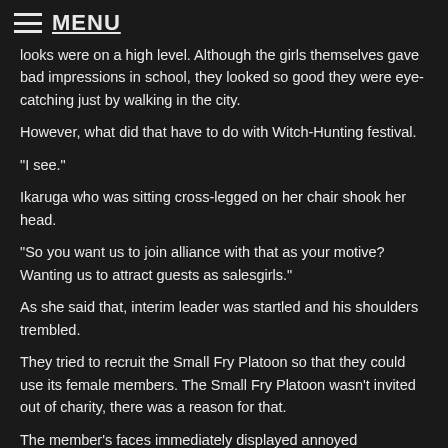MENU
looks were on a high level. Although the girls themselves gave bad impressions in school, they looked so good they were eye-catching just by walking in the city.
However, what did that have to do with Witch-Hunting festival.
"I see."
Ikaruga who was sitting cross-legged on her chair shook her head.
"So you want us to join alliance with that as your motive? Wanting us to attract guests as salesgirls."
As she said that, interim leader was startled and his shoulders trembled.
They tried to recruit the Small Fry Platoon so that they could use its female members. The Small Fry Platoon wasn't invited out of charity, there was a reason for that.
The member's faces immediately displayed annoyed expressions.